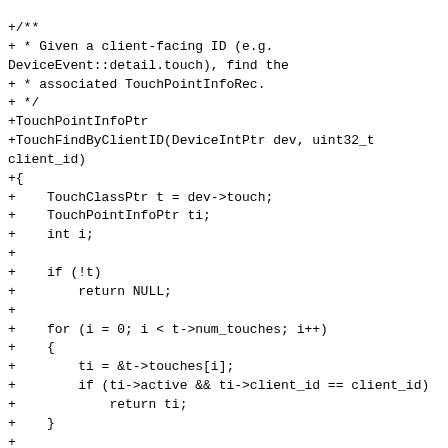+/**
+ * Given a client-facing ID (e.g. DeviceEvent::detail.touch), find the
+ * associated TouchPointInfoRec.
+ */
+TouchPointInfoPtr
+TouchFindByClientID(DeviceIntPtr dev, uint32_t client_id)
+{
+    TouchClassPtr t = dev->touch;
+    TouchPointInfoPtr ti;
+    int i;
+
+    if (!t)
+        return NULL;
+
+    for (i = 0; i < t->num_touches; i++)
+    {
+        ti = &t->touches[i];
+        if (ti->active && ti->client_id == client_id)
+            return ti;
+    }
+
+    return NULL;
+}
+
+
+/**
+ * Given a unique ID for a touchpoint, create a touchpoint record in the